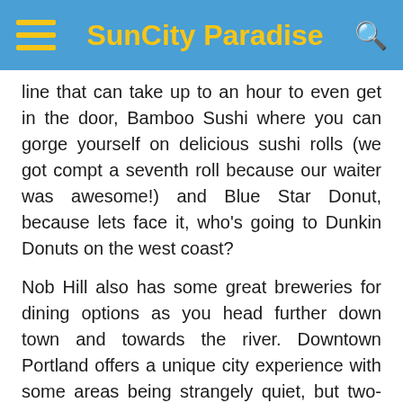SunCity Paradise
line that can take up to an hour to even get in the door, Bamboo Sushi where you can gorge yourself on delicious sushi rolls (we got compt a seventh roll because our waiter was awesome!) and Blue Star Donut, because lets face it, who's going to Dunkin Donuts on the west coast?
Nob Hill also has some great breweries for dining options as you head further down town and towards the river. Downtown Portland offers a unique city experience with some areas being strangely quiet, but two-blocks later finding a square full of Timbers fans. In the midst of it all is Powell's City of Books, my own personal promise land, and a stop for anyone visiting this fine city. Completely overwhelming in the best possible way, Powell's has something for everyone's favorite book lover back home, and for the person who needs to find something new to jump start their new love affair with the written word. They even have a map. Yes, A map! I'm not kidding the place is that big. Once you've spent your life savings, feel free to spend some more and hit up the food